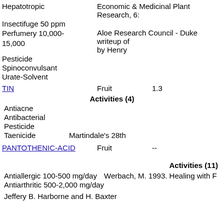Hepatotropic    Economic & Medicinal Plant Research, 6:
Insectifuge 50 ppm
Perfumery 10,000-15,000    Aloe Research Council - Duke writeup of by Henry
Pesticide
Spinoconvulsant
Urate-Solvent
TIN    Fruit    1.3
Activities (4)
Antiacne
Antibacterial
Pesticide
Taenicide    Martindale's 28th
PANTOTHENIC-ACID    Fruit    --
Activities (11)
Antiallergic 100-500 mg/day    Werbach, M. 1993. Healing with F
Antiarthritic 500-2,000 mg/day
Jeffery B. Harborne and H. Baxter